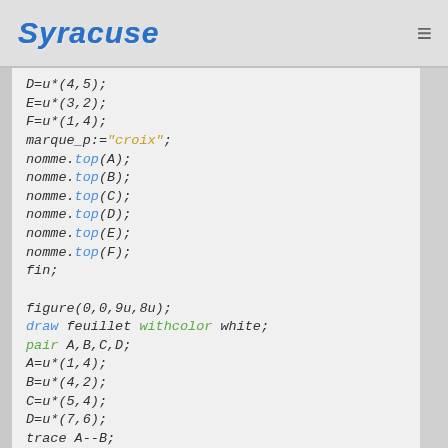Syracuse
D=u*(4,5);
E=u*(3,2);
F=u*(1,4);
marque_p:="croix";
nomme.top(A);
nomme.top(B);
nomme.top(C);
nomme.top(D);
nomme.top(E);
nomme.top(F);
fin;

figure(0,0,9u,8u);
draw feuillet withcolor white;
pair A,B,C,D;
A=u*(1,4);
B=u*(4,2);
C=u*(5,4);
D=u*(7,6);
trace A--B;
nomme.ulft(A);